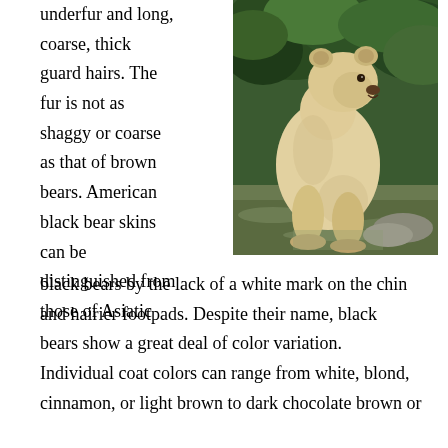underfur and long, coarse, thick guard hairs. The fur is not as shaggy or coarse as that of brown bears. American black bear skins can be distinguished from those of Asiatic black bears by the lack of a white mark on the chin and hairier footpads. Despite their name, black bears show a great deal of color variation. Individual coat colors can range from white, blond, cinnamon, or light brown to dark chocolate brown or jet black, with many intermediate variations.
[Figure (photo): A white (spirit bear/Kermode bear) standing in shallow green water with green vegetation in the background.]